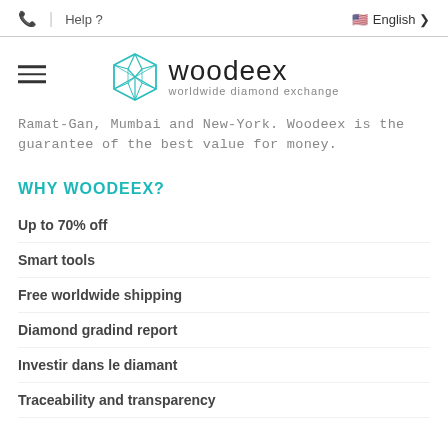📞 | Help ?   🇺🇸 English ▾
[Figure (logo): Woodeex worldwide diamond exchange logo with geometric diamond icon in teal outline]
Ramat-Gan, Mumbai and New-York. Woodeex is the guarantee of the best value for money.
WHY WOODEEX?
Up to 70% off
Smart tools
Free worldwide shipping
Diamond gradind report
Investir dans le diamant
Traceability and transparency